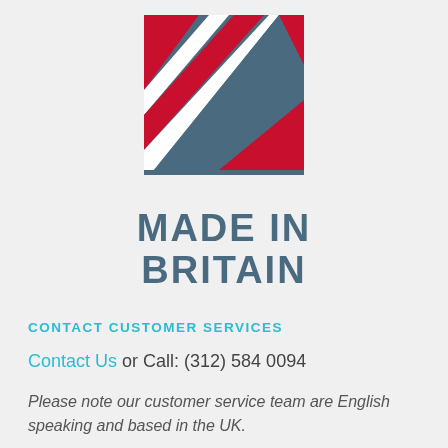[Figure (logo): Made in Britain logo — stylized arrow/chevron shape with Union Jack-inspired diagonal stripes in red, white and steel blue, above bold text reading MADE IN BRITAIN]
CONTACT CUSTOMER SERVICES
Contact Us or Call: (312) 584 0094
Please note our customer service team are English speaking and based in the UK.